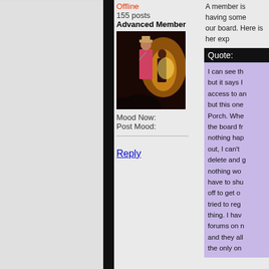Offline
155 posts
Advanced Member
[Figure (photo): User avatar photo showing a person on stage with a guitar at a concert with warm orange/yellow lighting]
Mood Now:
Post Mood:
Reply
A member is having some our board. Here is her exp
Quote:
I can see th but it says I access to an but this one Porch. Whe the board fr nothing hap out, I can't delete and g nothing wo have to shu off to get o tried to reg thing. I hav forums on n and they al the only on
Any help?
Board URL: http://azure.b